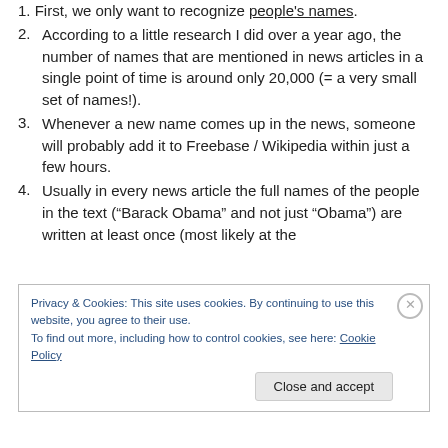1. First, we only want to recognize people's names.
2. According to a little research I did over a year ago, the number of names that are mentioned in news articles in a single point of time is around only 20,000 (= a very small set of names!).
3. Whenever a new name comes up in the news, someone will probably add it to Freebase / Wikipedia within just a few hours.
4. Usually in every news article the full names of the people in the text (“Barack Obama” and not just “Obama”) are written at least once (most likely at the
Privacy & Cookies: This site uses cookies. By continuing to use this website, you agree to their use.
To find out more, including how to control cookies, see here: Cookie Policy